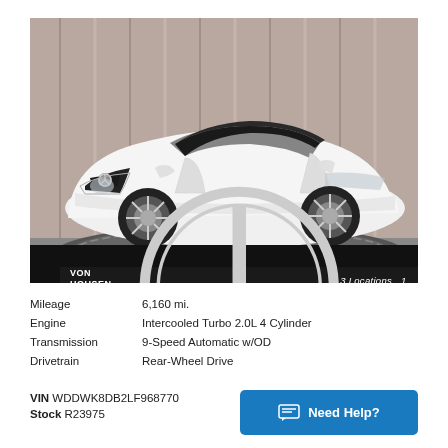[Figure (photo): White Mercedes-Benz C-Class convertible with black soft top, parked on a circular display platform in a showroom with grey curtain background. Von Housen Automotive Group dealer branding bar at the bottom of the image with Mercedes-Benz star logo and slogan '3 Locations. 1 Brilliant Choice.']
| Mileage | 6,160 mi. |
| Engine | Intercooled Turbo 2.0L 4 Cylinder |
| Transmission | 9-Speed Automatic w/OD |
| Drivetrain | Rear-Wheel Drive |
VIN WDDWK8DB2LF968770
Stock R23975